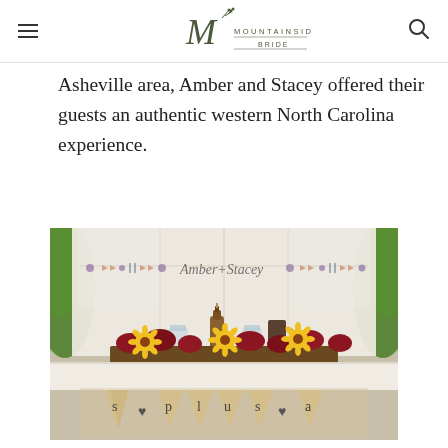Mountainside Bride
Asheville area, Amber and Stacey offered their guests an authentic western North Carolina experience.
[Figure (photo): Wedding reception head table with white tent backdrop, decorative banner reading 'Amber+Stacey', floral centerpiece with yellow sunflowers and dark red blooms, bottles and mason jars, and burlap pennant bunting spelling 's plus a' along the front of the table.]